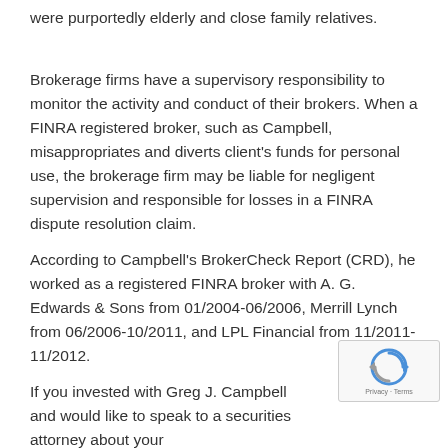were purportedly elderly and close family relatives.
Brokerage firms have a supervisory responsibility to monitor the activity and conduct of their brokers. When a FINRA registered broker, such as Campbell, misappropriates and diverts client's funds for personal use, the brokerage firm may be liable for negligent supervision and responsible for losses in a FINRA dispute resolution claim.
According to Campbell's BrokerCheck Report (CRD), he worked as a registered FINRA broker with A. G. Edwards & Sons from 01/2004-06/2006, Merrill Lynch from 06/2006-10/2011, and LPL Financial from 11/2011-11/2012.
If you invested with Greg J. Campbell and would like to speak to a securities attorney about your
[Figure (other): reCAPTCHA badge with circular arrow logo and Privacy - Terms text]